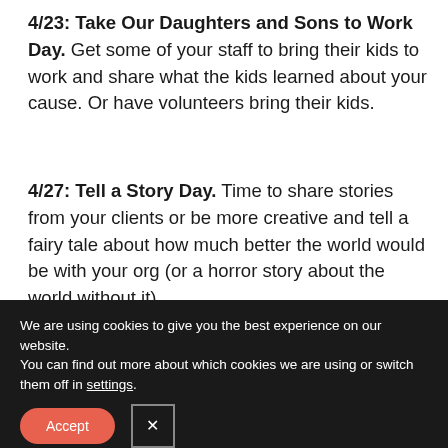4/23: Take Our Daughters and Sons to Work Day. Get some of your staff to bring their kids to work and share what the kids learned about your cause. Or have volunteers bring their kids.
4/27: Tell a Story Day. Time to share stories from your clients or be more creative and tell a fairy tale about how much better the world would be with your org (or a horror story about the world without it).
We are using cookies to give you the best experience on our website.
You can find out more about which cookies we are using or switch them off in settings.